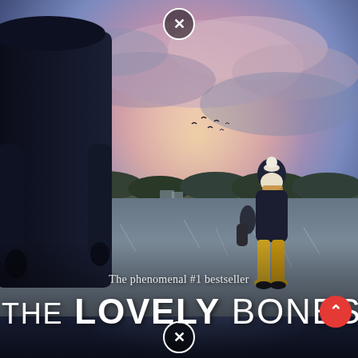[Figure (illustration): Movie/book poster for 'The Lovely Bones'. A dark, atmospheric scene showing a large figure in a dark coat on the left foreground (back to viewer) and a young girl in a winter hat, scarf, and yellow flared trousers standing in a frost-covered field in the background. The sky is dramatic with pink and purple clouds. Birds are visible in the sky. The lower portion shows a frost-covered cornfield.]
The phenomenal #1 bestseller
THE LOVELY BONES